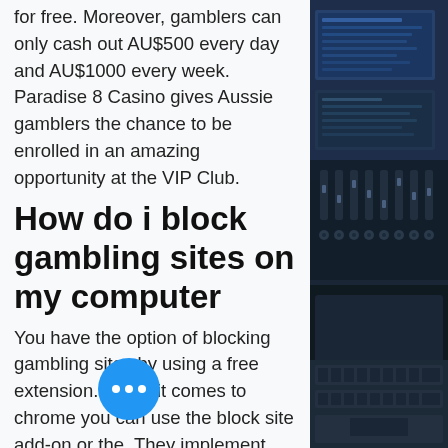for free. Moreover, gamblers can only cash out AU$500 every day and AU$1000 every week. Paradise 8 Casino gives Aussie gamblers the chance to be enrolled in an amazing opportunity at the VIP Club.
How do i block gambling sites on my computer
You have the option of blocking gambling sites by using a free extension. When it comes to chrome you can use the block site add-on or the. They implement restrictions and monitoring systems that track your every step. Most of the time betting websites are blocked by isps or filtered. Freedom blocks gambling websites and apps to give you control. If you want to stop or limit your gambling, freedom can help. Select the sites and apps you. There are a variety of w block gambling sites apart from installi free or paid blocking software. You can
[Figure (photo): Photo of computer/studio equipment with dark blue tones, showing screens and audio mixing equipment in a dimly lit environment]